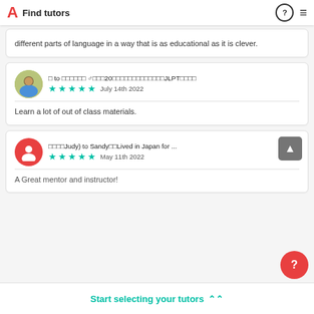Find tutors
different parts of language in a way that is as educational as it is clever.
□ to □□□□□□ ♂□□□20□□□□□□□□□□□□□JLPT□□□□ ★★★★★ July 14th 2022
Learn a lot of out of class materials.
□□□□Judy) to Sandy□□Lived in Japan for ... ★★★★★ May 11th 2022
A Great mentor and instructor!
Start selecting your tutors ⋀⋀